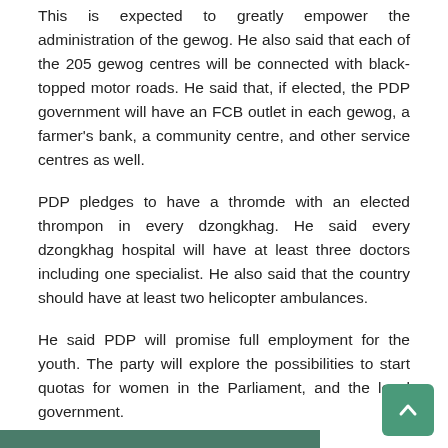This is expected to greatly empower the administration of the gewog. He also said that each of the 205 gewog centres will be connected with black-topped motor roads. He said that, if elected, the PDP government will have an FCB outlet in each gewog, a farmer's bank, a community centre, and other service centres as well.
PDP pledges to have a thromde with an elected thrompon in every dzongkhag. He said every dzongkhag hospital will have at least three doctors including one specialist. He also said that the country should have at least two helicopter ambulances.
He said PDP will promise full employment for the youth. The party will explore the possibilities to start quotas for women in the Parliament, and the local government.
PDP also pledges to extend maternity leave for new mothers.
The team then, headed to Wangduephodrang where they were welcomed by a crowd of about 400 people.